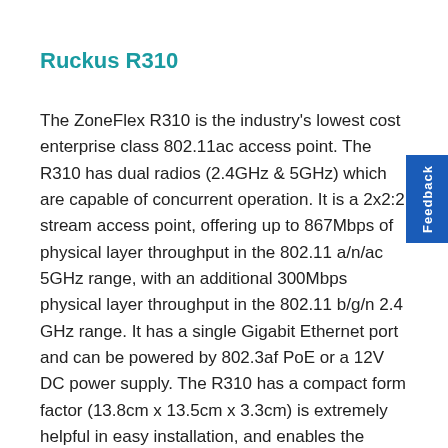Ruckus R310
The ZoneFlex R310 is the industry's lowest cost enterprise class 802.11ac access point. The R310 has dual radios (2.4GHz & 5GHz) which are capable of concurrent operation. It is a 2x2:2 stream access point, offering up to 867Mbps of physical layer throughput in the 802.11 a/n/ac 5GHz range, with an additional 300Mbps physical layer throughput in the 802.11 b/g/n 2.4 GHz range. It has a single Gigabit Ethernet port and can be powered by 802.3af PoE or a 12V DC power supply. The R310 has a compact form factor (13.8cm x 13.5cm x 3.3cm) is extremely helpful in easy installation, and enables the power of 802.11ac literally in the palm of your hand.
It is perfect for low client density deployments such